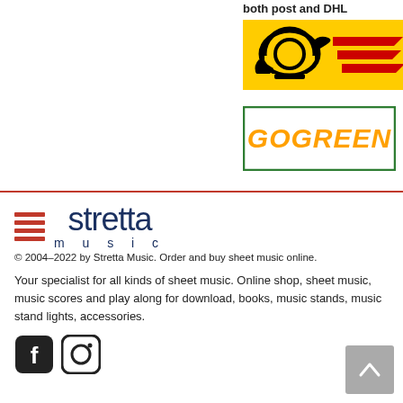both post and DHL
[Figure (logo): Deutsche Post and DHL logos on yellow background]
[Figure (logo): GoGreen logo with green border on white background]
[Figure (logo): Stretta Music logo with red horizontal lines and blue text]
© 2004–2022 by Stretta Music. Order and buy sheet music online.
Your specialist for all kinds of sheet music. Online shop, sheet music, music scores and play along for download, books, music stands, music stand lights, accessories.
[Figure (illustration): Facebook and Instagram social media icons]
[Figure (illustration): Scroll to top button (upward chevron on grey square)]